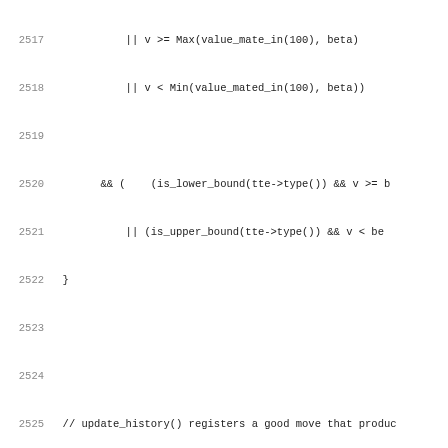Source code listing lines 2517-2548, C++ chess engine code showing update_history and update_killers functions